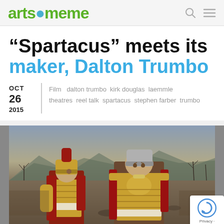artsmeme
“Spartacus” meets its maker, Dalton Trumbo
OCT 26 2015 | Film  dalton trumbo  kirk douglas  laemmle theatres  reel talk  spartacus  stephen farber  trumbo
[Figure (photo): Two actors in Roman centurion armor and helmets standing in a desert battlefield scene from the film Spartacus]